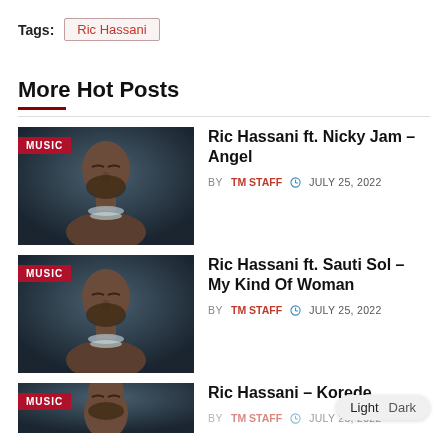Tags: Ric Hassani
More Hot Posts
[Figure (photo): Portrait photo of Ric Hassani with MUSIC badge overlay]
Ric Hassani ft. Nicky Jam – Angel
BY TM STAFF  JULY 25, 2022
[Figure (photo): Portrait photo of Ric Hassani with MUSIC badge overlay]
Ric Hassani ft. Sauti Sol – My Kind Of Woman
BY TM STAFF  JULY 25, 2022
[Figure (photo): Portrait photo of Ric Hassani with MUSIC badge overlay]
Ric Hassani – Korede
BY TM STAFF  JULY 25, 2022